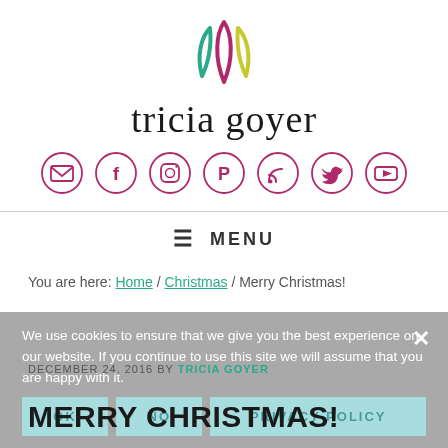[Figure (logo): Tricia Goyer logo: stylized overlapping leaf/petal shapes in teal, purple/magenta, and yellow-green, above the script text 'tricia goyer']
[Figure (infographic): Row of 7 social media icon circles in magenta/purple outline: email envelope, Facebook f, Instagram camera, Pinterest P, RSS feed, Twitter bird, YouTube play button]
≡  MENU
You are here: Home / Christmas / Merry Christmas!
We use cookies to ensure that we give you the best experience on our website. If you continue to use this site we will assume that you are happy with it.
OK    NO    PRIVACY POLICY
DECEMBER 24, 2016 BY TRICIA GOYER
MERRY CHRISTMAS!